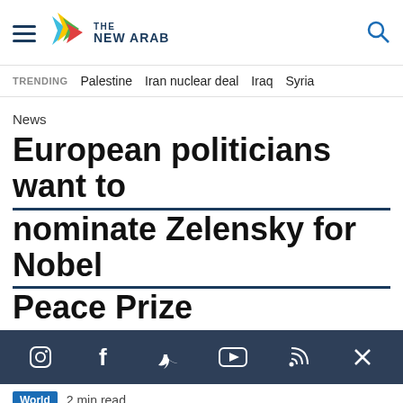[Figure (logo): The New Arab logo with colorful bird/arrow and text THE NEW ARAB, plus hamburger menu and search icon]
TRENDING  Palestine  Iran nuclear deal  Iraq  Syria
News
European politicians want to nominate Zelensky for Nobel Peace Prize
[Figure (infographic): Social media sharing bar with icons: Instagram, Facebook, Twitter, YouTube, RSS, X (close)]
World  2 min read
The New Arab Staff  |  18 March, 2022
Privacy Policy  |  Terms of Use  |  Sitemap
Most Viewed ^